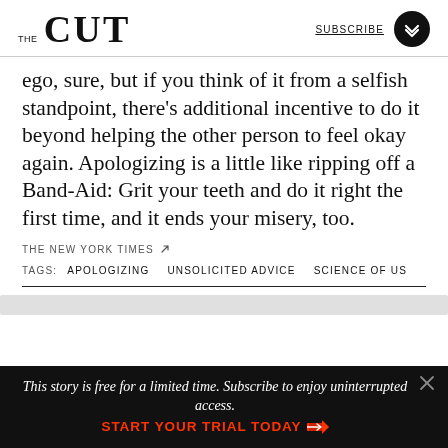THE CUT   SUBSCRIBE
ego, sure, but if you think of it from a selfish standpoint, there's additional incentive to do it beyond helping the other person to feel okay again. Apologizing is a little like ripping off a Band-Aid: Grit your teeth and do it right the first time, and it ends your misery, too.
THE NEW YORK TIMES
TAGS:  APOLOGIZING  UNSOLICITED ADVICE  SCIENCE OF US
This story is free for a limited time. Subscribe to enjoy uninterrupted access.  START YOUR TRIAL TODAY